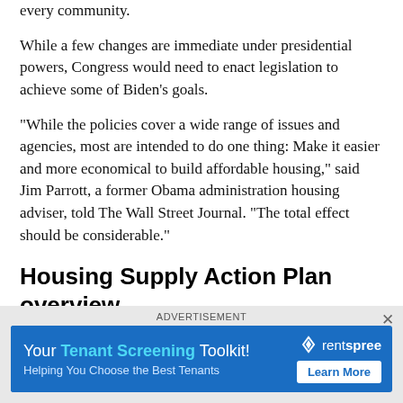every community.
While a few changes are immediate under presidential powers, Congress would need to enact legislation to achieve some of Biden’s goals.
“While the policies cover a wide range of issues and agencies, most are intended to do one thing: Make it easier and more economical to build affordable housing,” said Jim Parrott, a former Obama administration housing adviser, told The Wall Street Journal. “The total effect should be considerable.”
Housing Supply Action Plan overview
Provide incentives that entice communities to
ADVERTISEMENT